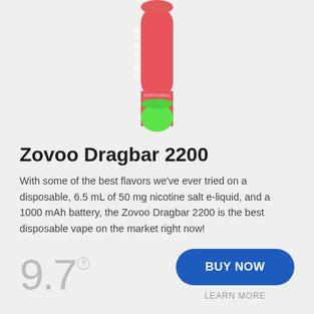[Figure (photo): A disposable vape pen (Zovoo Dragbar 2200) with a red/pink upper body labeled DRAGBAR and a bright green lower cap, shown vertically centered at the top of the card.]
Zovoo Dragbar 2200
With some of the best flavors we've ever tried on a disposable, 6.5 mL of 50 mg nicotine salt e-liquid, and a 1000 mAh battery, the Zovoo Dragbar 2200 is the best disposable vape on the market right now!
9.7
BUY NOW
LEARN MORE